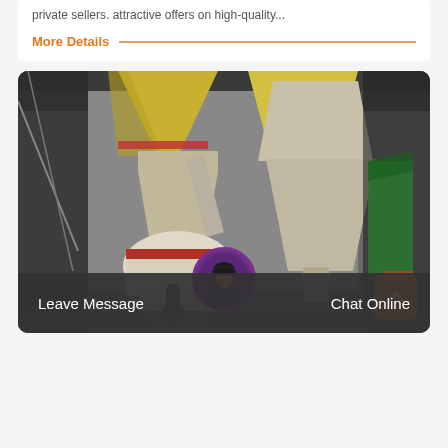private sellers. attractive offers on high-quality...
More Details
[Figure (photo): Industrial grinding mill machinery with cyclone separators and large yellow funnels, photographed indoors at an industrial site. Workers visible near machinery. Green tarp visible on right side.]
Leave Message   Chat Online